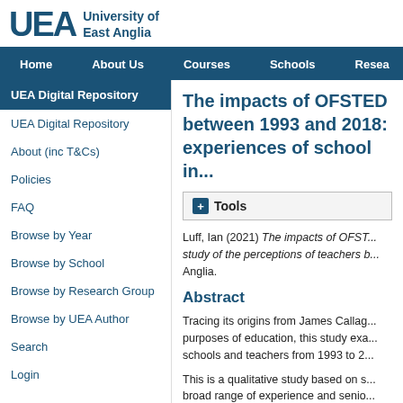[Figure (logo): University of East Anglia logo with UEA letters and text]
Home   About Us   Courses   Schools   Resea...
UEA Digital Repository
UEA Digital Repository
About (inc T&Cs)
Policies
FAQ
Browse by Year
Browse by School
Browse by Research Group
Browse by UEA Author
Search
Login
The impacts of OFSTED between 1993 and 2018: experiences of school in...
+ Tools
Luff, Ian (2021) The impacts of OFST... study of the perceptions of teachers b... Anglia.
Abstract
Tracing its origins from James Callag... purposes of education, this study exa... schools and teachers from 1993 to 2...
This is a qualitative study based on s... broad range of experience and senio... basis of service in at least two schoo... experiences of both. In total, the sam...